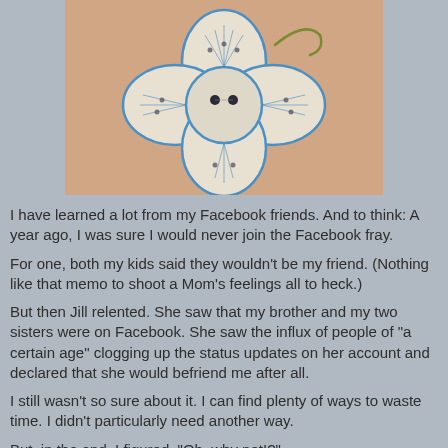[Figure (photo): Close-up photo of a tattoo on skin depicting a flower designed to look like a button, with blue outlines and dotted petals, two black button holes in the center, and a small green curling stem.]
I have learned a lot from my Facebook friends. And to think: A year ago, I was sure I would never join the Facebook fray.
For one, both my kids said they wouldn't be my friend. (Nothing like that memo to shoot a Mom's feelings all to heck.)
But then Jill relented. She saw that my brother and my two sisters were on Facebook. She saw the influx of people of "a certain age" clogging up the status updates on her account and declared that she would befriend me after all.
I still wasn't so sure about it. I can find plenty of ways to waste time. I didn't particularly need another way.
But, in the end, I figured, "Oh, why not!?"